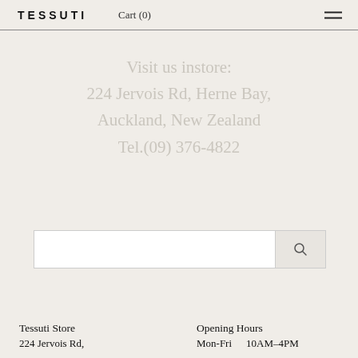TESSUTI   Cart (0)
Visit us instore:
224 Jervois Rd, Herne Bay,
Auckland, New Zealand
Tel.(09) 376-4822
[Figure (other): Search input bar with a search button on the right]
Tessuti Store
224 Jervois Rd,
Opening Hours
Mon-Fri   10AM–4PM